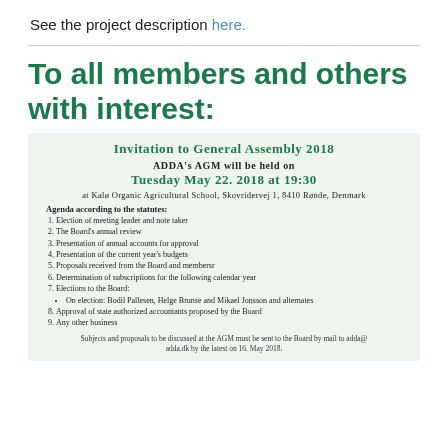See the project description here.
To all members and others with interest:
Invitation to General Assembly 2018
ADDA's AGM will be held on Tuesday May 22. 2018 at 19:30
at Kalø Organic Agricultural School, Skovridervej 1, 8410 Rønde, Denmark
Agenda according to the statutes:
Election of meeting leader and note taker
The Board's annual review
Presentation of annual accounts for approval
Presentation of the current year's budgets
Proposals received from the Board and membersr
Determination of subscriptions for the following calendar year
Elections to the Board: On election: Bodil Pallesen, Helge Brunse and Mikael Jonsson and alternates
Approval of state authorized accountants proposed by the Board
Any other business
Subjects and proposals to be discussed at the AGM must be sent to the Board by mail to adda@adda.dk by the latest on 16. May 2018.